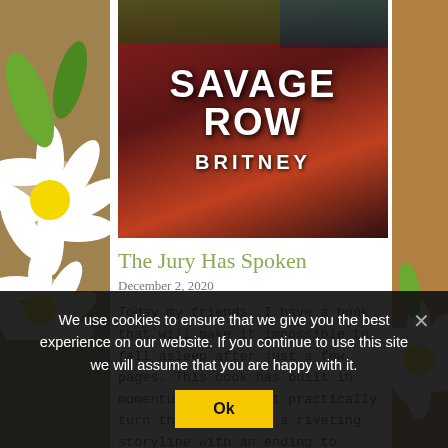[Figure (photo): Book cover photo of 'Savage Row' by Britney, displayed against a background of Christmas greenery and flowers]
The Jury Has Spoken
December 2, 2020
Today my friends, I have a book that will make it impossible to fall asleep after just a few pages. This book has built in momentum, pages that practically turn themselves and a riveting storyline with an ending to please. Britney
We use cookies to ensure that we give you the best experience on our website. If you continue to use this site we will assume that you are happy with it.